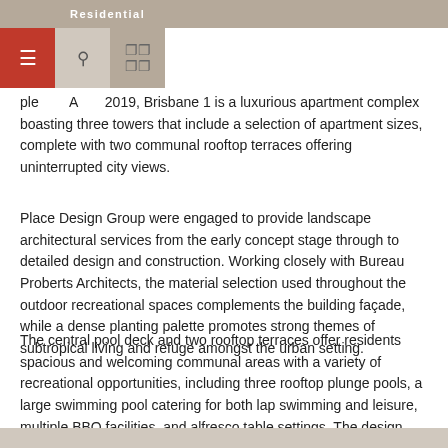Residential
ple A 2019, Brisbane 1 is a luxurious apartment complex boasting three towers that include a selection of apartment sizes, complete with two communal rooftop terraces offering uninterrupted city views.
Place Design Group were engaged to provide landscape architectural services from the early concept stage through to detailed design and construction. Working closely with Bureau Proberts Architects, the material selection used throughout the outdoor recreational spaces complements the building façade, while a dense planting palette promotes strong themes of subtropical living and refuge amongst the urban setting.
The central pool deck and two rooftop terraces offer residents spacious and welcoming communal areas with a variety of recreational opportunities, including three rooftop plunge pools, a large swimming pool catering for both lap swimming and leisure, multiple BBQ facilities, and alfresco table settings. The design outcome has created a benchmark in high-rise residential living that embraces and celebrates Brisbane's renowned sub-tropical climate.